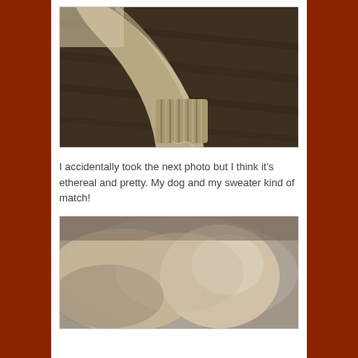[Figure (photo): Close-up photo of a knitted sweater sleeve/cuff resting on a dark wooden surface, with a loose yarn thread visible. The sweater is beige/tan colored with ribbed cuff detail.]
I accidentally took the next photo but I think it's ethereal and pretty. My dog and my sweater kind of match!
[Figure (photo): Blurry, ethereal photo showing a dog (tan/beige colored) lying down, the image is soft-focused and dreamy. The dog's fur color matches the sweater from the previous photo.]